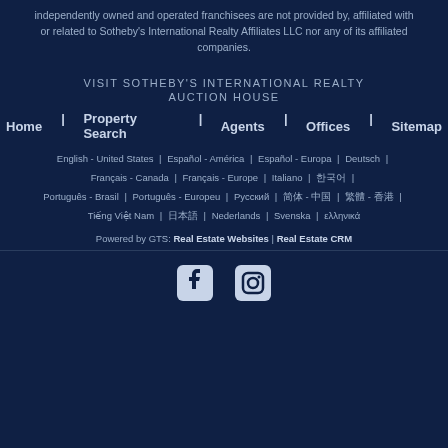independently owned and operated franchisees are not provided by, affiliated with or related to Sotheby's International Realty Affiliates LLC nor any of its affiliated companies.
VISIT SOTHEBY'S INTERNATIONAL REALTY
AUCTION HOUSE
Home | Property Search | Agents | Offices | Sitemap
English - United States | Español - América | Español - Europa | Deutsch | Français - Canada | Français - Europe | Italiano | 한국어 | Português - Brasil | Português - Europeu | Русский | 简体 - 中国 | 繁體 - 香港 | Tiếng Việt Nam | 日本語 | Nederlands | Svenska | ελληνικά
Powered by GTS: Real Estate Websites | Real Estate CRM
[Figure (illustration): Facebook and Instagram social media icons]